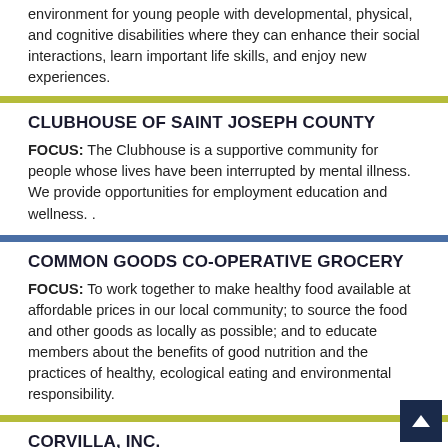environment for young people with developmental, physical, and cognitive disabilities where they can enhance their social interactions, learn important life skills, and enjoy new experiences.
CLUBHOUSE OF SAINT JOSEPH COUNTY
FOCUS: The Clubhouse is a supportive community for people whose lives have been interrupted by mental illness. We provide opportunities for employment education and wellness. .
COMMON GOODS CO-OPERATIVE GROCERY
FOCUS: To work together to make healthy food available at affordable prices in our local community; to source the food and other goods as locally as possible; and to educate members about the benefits of good nutrition and the practices of healthy, ecological eating and environmental responsibility.
CORVILLA, INC.
FOCUS: To provide homes, employment services, and education and training programs for people with intellectual and developmental disabilities in St. Joseph and Elkhart Counties.